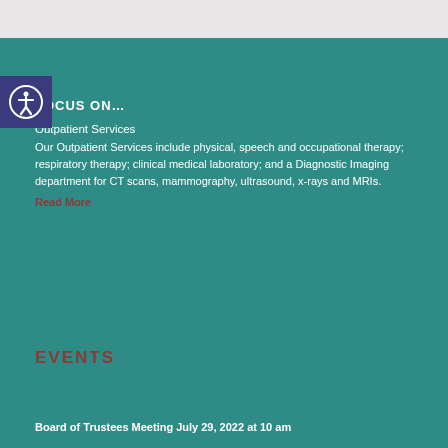FOCUS ON…
Outpatient Services
Our Outpatient Services include physical, speech and occupational therapy; respiratory therapy; clinical medical laboratory; and a Diagnostic Imaging department for CT scans, mammography, ultrasound, x-rays and MRIs.
Read More
EVENTS
Board of Trustees Meeting July 29, 2022 at 10 am